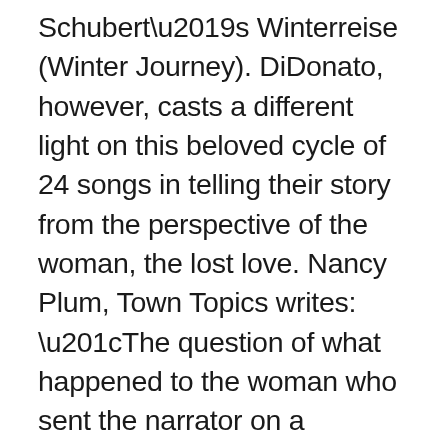Schubert's Winterreise (Winter Journey). DiDonato, however, casts a different light on this beloved cycle of 24 songs in telling their story from the perspective of the woman, the lost love. Nancy Plum, Town Topics writes: “The question of what happened to the woman who sent the narrator on a tortuous journey was not answered in the Wilhelm Müller poetry from which Schubert drew the text, but DiDonato created a scenario onstage of being that woman, reading from the narrator’s journal and responding to the inherent despair.” “What stood out was the heavy emotion that came through in her singing, as she lingered on a syllable here, pressed her tone there. She created vivid feelings with her contrasts” wrote New York Classical Review about